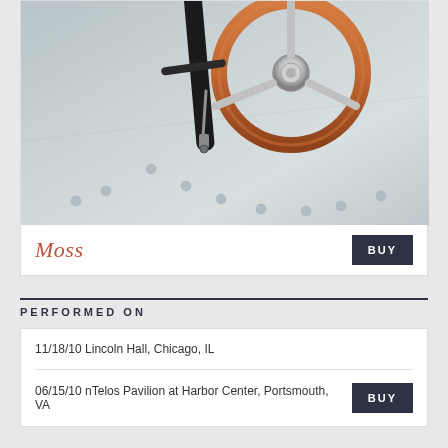[Figure (photo): Close-up photo of a vintage car interior showing an orange/wood-rimmed steering wheel with spoke, chrome hub, and metal body panel with rivets visible below]
Moss
PERFORMED ON
11/18/10 Lincoln Hall, Chicago, IL
06/15/10 nTelos Pavilion at Harbor Center, Portsmouth, VA